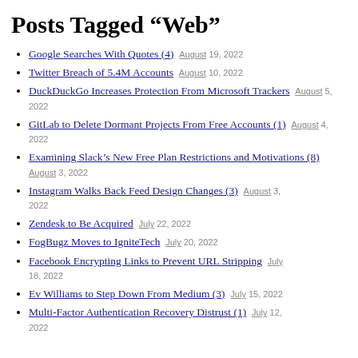Posts Tagged “Web”
Google Searches With Quotes (4) August 19, 2022
Twitter Breach of 5.4M Accounts August 10, 2022
DuckDuckGo Increases Protection From Microsoft Trackers August 5, 2022
GitLab to Delete Dormant Projects From Free Accounts (1) August 4, 2022
Examining Slack’s New Free Plan Restrictions and Motivations (8) August 3, 2022
Instagram Walks Back Feed Design Changes (3) August 3, 2022
Zendesk to Be Acquired July 22, 2022
FogBugz Moves to IgniteTech July 20, 2022
Facebook Encrypting Links to Prevent URL Stripping July 18, 2022
Ev Williams to Step Down From Medium (3) July 15, 2022
Multi-Factor Authentication Recovery Distrust (1) July 12, 2022